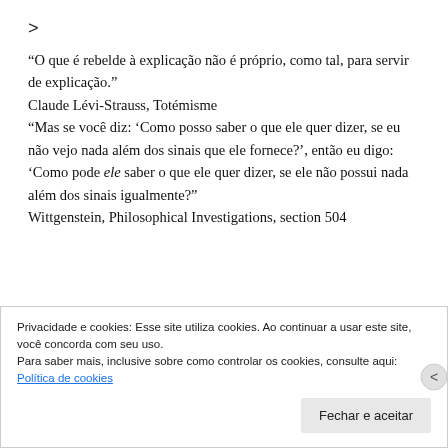>
“O que é rebelde à explicação não é próprio, como tal, para servir de explicação.”
Claude Lévi-Strauss, Totémisme
“Mas se você diz: ‘Como posso saber o que ele quer dizer, se eu não vejo nada além dos sinais que ele fornece?’, então eu digo: ‘Como pode ele saber o que ele quer dizer, se ele não possui nada além dos sinais igualmente?”
Wittgenstein, Philosophical Investigations, section 504
Privacidade e cookies: Esse site utiliza cookies. Ao continuar a usar este site, você concorda com seu uso.
Para saber mais, inclusive sobre como controlar os cookies, consulte aqui:
Política de cookies
Fechar e aceitar